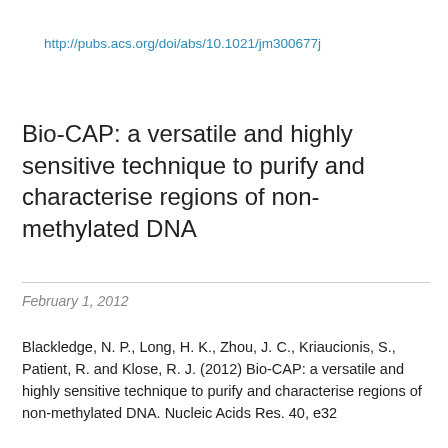http://pubs.acs.org/doi/abs/10.1021/jm300677j
Bio-CAP: a versatile and highly sensitive technique to purify and characterise regions of non-methylated DNA
February 1, 2012
Blackledge, N. P., Long, H. K., Zhou, J. C., Kriaucionis, S., Patient, R. and Klose, R. J. (2012) Bio-CAP: a versatile and highly sensitive technique to purify and characterise regions of non-methylated DNA. Nucleic Acids Res. 40, e32
http://nar.oxfordjournals.org/content/40/4/e32.long